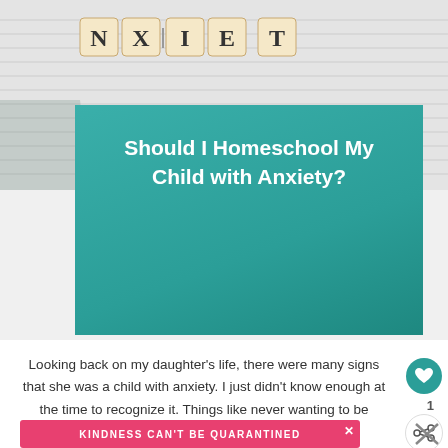[Figure (photo): Background photo of scrabble tiles spelling ANXIETY on a lined white surface]
Should I Homeschool My Child with Anxiety?
Looking back on my daughter's life, there were many signs that she was a child with anxiety. I just didn't know enough at the time to recognize it. Things like never wanting to be separated from me, hiding behind my back in social situations, and having difficulty going to bed at night were a constant
[Figure (other): Pink advertisement banner reading: KINDNESS CAN'T BE QUARANTINED]